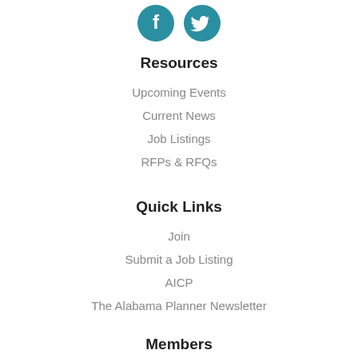[Figure (illustration): Social media icons: Facebook (teal circle with 'f') and Twitter (teal circle with bird)]
Resources
Upcoming Events
Current News
Job Listings
RFPs & RFQs
Quick Links
Join
Submit a Job Listing
AICP
The Alabama Planner Newsletter
Members